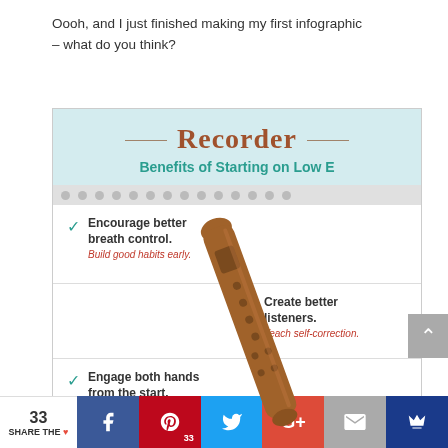Oooh, and I just finished making my first infographic – what do you think?
[Figure (infographic): Infographic titled 'Recorder – Benefits of Starting on Low E' showing a recorder instrument with checkmark items: Encourage better breath control (Build good habits early), Create better listeners (Teach self-correction), Engage both hands from the start (No lazy right hands), Mimic Early]
33 SHARE THE ♥  [Facebook] [Pinterest 33] [Twitter] [Google+] [Email] [Crown]